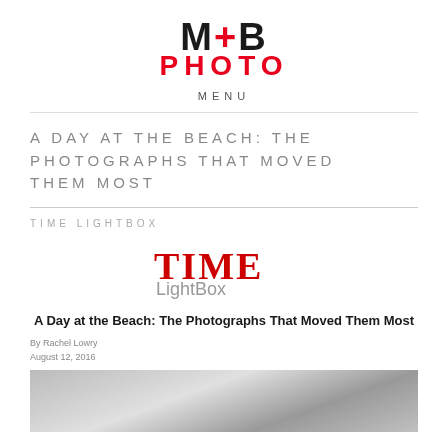[Figure (logo): M+B PHOTO logo with M+B in black bold and PHOTO in red bold with wide letter spacing]
MENU
A DAY AT THE BEACH: THE PHOTOGRAPHS THAT MOVED THEM MOST
TIME LIGHTBOX
[Figure (logo): TIME LightBox logo — TIME in red serif bold, LightBox in grey sans-serif]
A Day at the Beach: The Photographs That Moved Them Most
By Rachel Lowry
August 12, 2016
[Figure (photo): Black and white photograph cropped at bottom of page, showing top of a person's head]